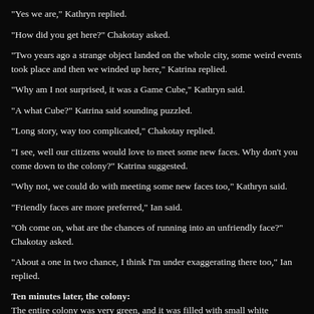"Yes we are," Kathryn replied.
"How did you get here?" Chakotay asked.
"Two years ago a strange object landed on the whole city, some weird events took place and then we winded up here," Katrina replied.
"Why am I not surprised, it was a Game Cube," Kathryn said.
"A what Cube?" Katrina said sounding puzzled.
"Long story, way too complicated," Chakotay replied.
"I see, well our citizens would love to meet some new faces. Why don't you come down to the colony?" Katrina suggested.
"Why not, we could do with meeting some new faces too," Kathryn said.
"Friendly faces are more preferred," Ian said.
"Oh come on, what are the chances of running into an unfriendly face?" Chakotay asked.
"About a one in two chance, I think I'm under exaggerating there too," Ian replied.
Ten minutes later, the colony: The entire colony was very green, and it was filled with small white buildings. Katrina and an awayteam were walking down a wide street.